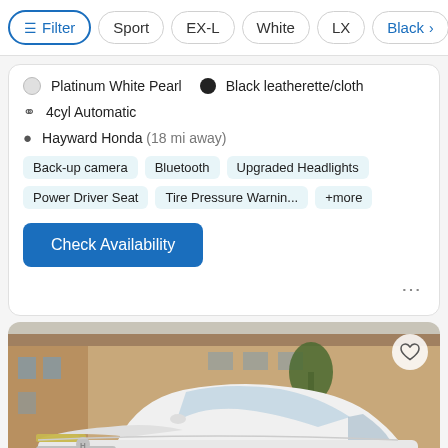Filter | Sport | EX-L | White | LX | Black >
Platinum White Pearl  •  Black leatherette/cloth
4cyl Automatic
Hayward Honda (18 mi away)
Back-up camera
Bluetooth
Upgraded Headlights
Power Driver Seat
Tire Pressure Warnin...
+more
Check Availability
[Figure (photo): White Honda Accord sedan photographed from the front-left angle in a parking lot, showing the front grille, headlights, and wheels against a building background.]